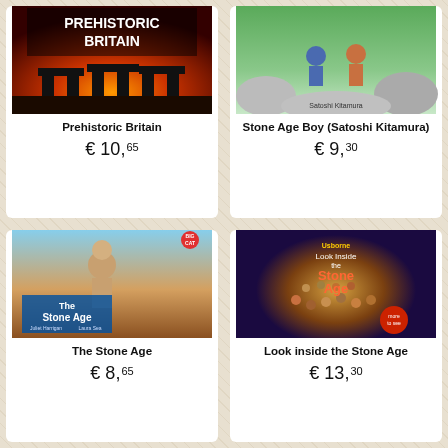[Figure (illustration): Book cover for Prehistoric Britain showing Stonehenge with fire/orange sky]
Prehistoric Britain
€ 10,65
[Figure (illustration): Book cover for Stone Age Boy by Satoshi Kitamura showing illustrated children near rocks]
Stone Age Boy (Satoshi Kitamura)
€ 9,30
[Figure (illustration): Book cover for The Stone Age by Juliet Harrigan and Laura Sea showing caveman figures]
The Stone Age
€ 8,65
[Figure (illustration): Book cover for Look Inside the Stone Age (Usborne) showing cartoon stone age people gathered]
Look inside the Stone Age
€ 13,30